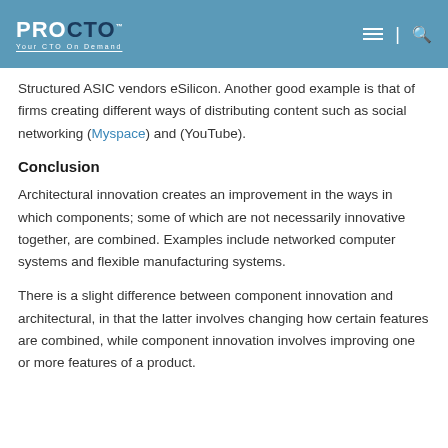PROCTO Your CTO On Demand
Structured ASIC vendors eSilicon. Another good example is that of firms creating different ways of distributing content such as social networking (Myspace) and (YouTube).
Conclusion
Architectural innovation creates an improvement in the ways in which components; some of which are not necessarily innovative together, are combined. Examples include networked computer systems and flexible manufacturing systems.
There is a slight difference between component innovation and architectural, in that the latter involves changing how certain features are combined, while component innovation involves improving one or more features of a product.